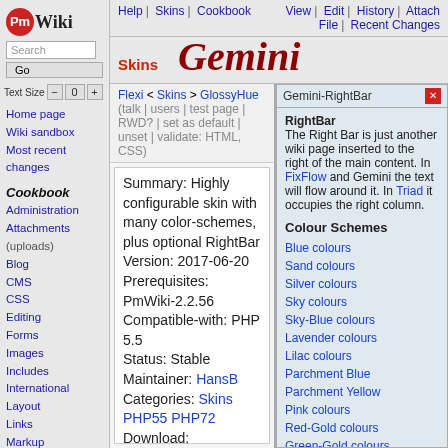[Figure (logo): PmWiki logo with red circle Pm and bold Wiki text]
Search
Go
Text Size  -  0  +
Home page
Wiki sandbox
Most recent changes
Cookbook
Administration
Attachments (uploads)
Blog
CMS
CSS
Editing
Forms
Images
Includes
International
Layout
Links
Markup
Help | Skins | Cookbook   View | Edit | History | Attach File | Recent Changes
Gemini
Skins
Flexi < Skins > GlossyHue  (talk | users | test page | RWD? | set as default | unset | validate: HTML, CSS)
Summary: Highly configurable skin with many color-schemes, plus optional RightBar Version: 2017-06-20 Prerequisites: PmWiki-2.2.56 Compatible-with: PHP 5.5 Status: Stable Maintainer: HansB Categories: Skins PHP55 PHP72 Download:
Gemini-RightBar
RightBar
The Right Bar is just another wiki page inserted to the right of the main content. In FixFlow and Gemini the text will flow around it. In Triad it occupies the right column.
Colour Schemes
Blue colours
Sand colours
Silver colours
Sky colours
Sky-Blue colours
Lavender colours
Lilac colours
Parchment Blue
Parchment Yellow
Pink colours
Red-Gold colours
Green-Gold colours
Night blue colours